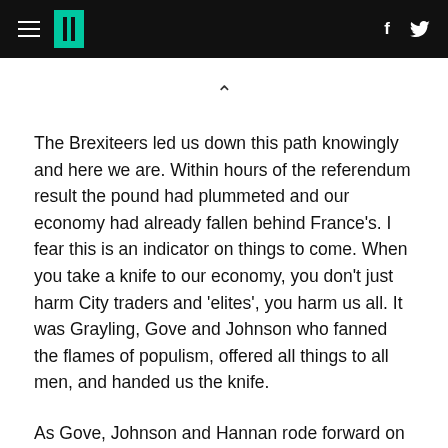HuffPost navigation header with hamburger menu, logo, Facebook and Twitter icons
The Brexiteers led us down this path knowingly and here we are. Within hours of the referendum result the pound had plummeted and our economy had already fallen behind France's. I fear this is an indicator on things to come. When you take a knife to our economy, you don't just harm City traders and 'elites', you harm us all. It was Grayling, Gove and Johnson who fanned the flames of populism, offered all things to all men, and handed us the knife.
As Gove, Johnson and Hannan rode forward on